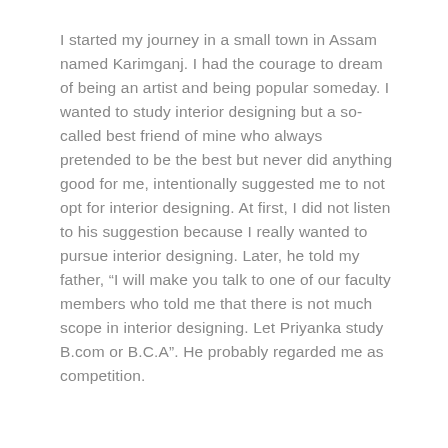I started my journey in a small town in Assam named Karimganj. I had the courage to dream of being an artist and being popular someday. I wanted to study interior designing but a so-called best friend of mine who always pretended to be the best but never did anything good for me, intentionally suggested me to not opt for interior designing. At first, I did not listen to his suggestion because I really wanted to pursue interior designing. Later, he told my father, “I will make you talk to one of our faculty members who told me that there is not much scope in interior designing. Let Priyanka study B.com or B.C.A”. He probably regarded me as competition.